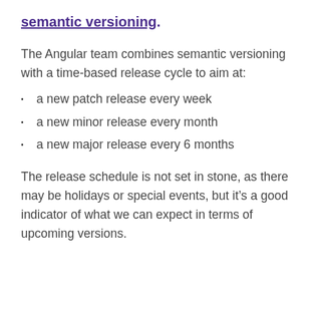semantic versioning.
The Angular team combines semantic versioning with a time-based release cycle to aim at:
a new patch release every week
a new minor release every month
a new major release every 6 months
The release schedule is not set in stone, as there may be holidays or special events, but it's a good indicator of what we can expect in terms of upcoming versions.